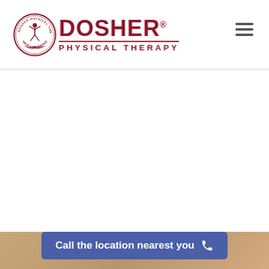[Figure (logo): Dosher Physical Therapy logo with circular emblem and text]
[Figure (photo): Background photo of physical therapy setting, partially visible at bottom]
Call the location nearest you